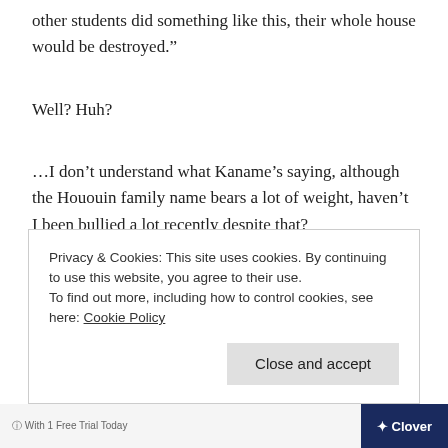other students did something like this, their whole house would be destroyed.”
Well? Huh?
…I don’t understand what Kaname’s saying, although the Hououin family name bears a lot of weight, haven’t I been bullied a lot recently despite that?
“…The ignorant students are one thing, but why don’t you
Privacy & Cookies: This site uses cookies. By continuing to use this website, you agree to their use.
To find out more, including how to control cookies, see here: Cookie Policy
Close and accept